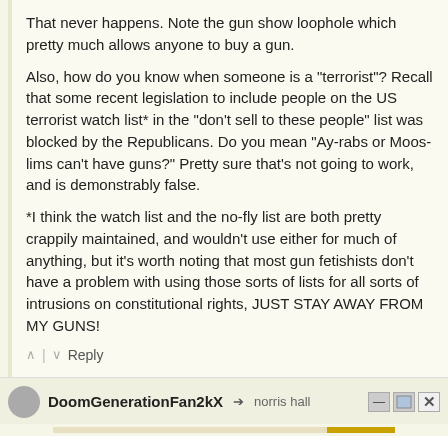That never happens. Note the gun show loophole which pretty much allows anyone to buy a gun.
Also, how do you know when someone is a "terrorist"? Recall that some recent legislation to include people on the US terrorist watch list* in the "don't sell to these people" list was blocked by the Republicans. Do you mean "Ay-rabs or Moos-lims can't have guns?" Pretty sure that's not going to work, and is demonstrably false.
*I think the watch list and the no-fly list are both pretty crappily maintained, and wouldn't use either for much of anything, but it's worth noting that most gun fetishists don't have a problem with using those sorts of lists for all sorts of intrusions on constitutional rights, JUST STAY AWAY FROM MY GUNS!
↑  |  ↓  Reply
DoomGenerationFan2kX → norris hall
[Figure (other): Bottom ad bar and white area with a red X mark]